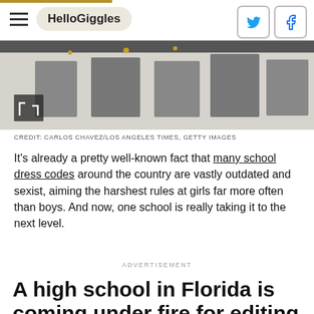HelloGiggles
[Figure (photo): Photo of art installation with images pinned to a wall, credit Carlos Chavez/Los Angeles Times, Getty Images]
CREDIT: CARLOS CHAVEZ/LOS ANGELES TIMES, GETTY IMAGES
It's already a pretty well-known fact that many school dress codes around the country are vastly outdated and sexist, aiming the harshest rules at girls far more often than boys. And now, one school is really taking it to the next level.
ADVERTISEMENT
A high school in Florida is coming under fire for editing